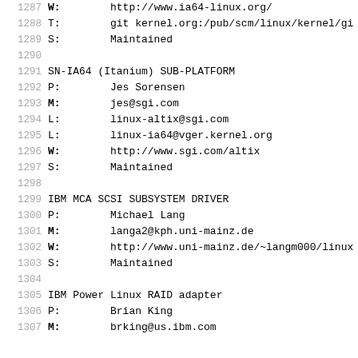1287    W:        http://www.ia64-linux.org/
1288    T:        git kernel.org:/pub/scm/linux/kernel/gi
1289    S:        Maintained
1290
1291    SN-IA64 (Itanium) SUB-PLATFORM
1292    P:        Jes Sorensen
1293    M:        jes@sgi.com
1294    L:        linux-altix@sgi.com
1295    L:        linux-ia64@vger.kernel.org
1296    W:        http://www.sgi.com/altix
1297    S:        Maintained
1298
1299    IBM MCA SCSI SUBSYSTEM DRIVER
1300    P:        Michael Lang
1301    M:        langa2@kph.uni-mainz.de
1302    W:        http://www.uni-mainz.de/~langm000/linux
1303    S:        Maintained
1304
1305    IBM Power Linux RAID adapter
1306    P:        Brian King
1307    M:        brking@us.ibm.com